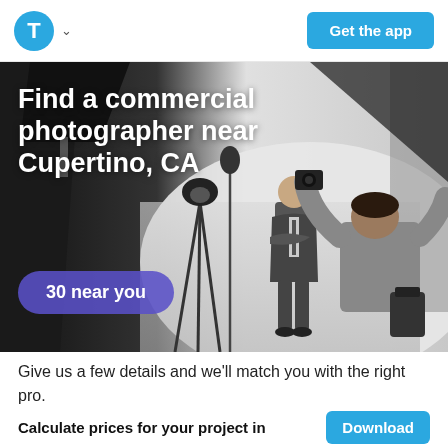[Figure (logo): Thumbtack app logo - blue circle with white T letter, with a dropdown chevron next to it]
Get the app
[Figure (photo): Commercial photography studio scene: a photographer (seen from behind) taking a photo of a man in a suit standing with arms crossed. Professional lighting equipment and black backdrop visible.]
Find a commercial photographer near Cupertino, CA
30 near you
Give us a few details and we’ll match you with the right pro.
Zip code  95014
Calculate prices for your project in
Download